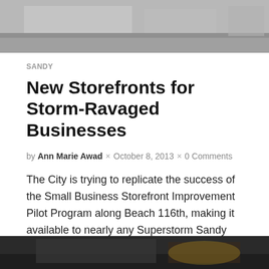[Figure (photo): Top portion of a building storefront, grayscale/muted tones, architectural exterior]
SANDY
New Storefronts for Storm-Ravaged Businesses
by Ann Marie Awad × October 8, 2013 × 0 Comments
The City is trying to replicate the success of the Small Business Storefront Improvement Pilot Program along Beach 116th, making it available to nearly any Superstorm Sandy impacted business that falls within an evacuation zone.
[Figure (photo): Bottom partial image, dark tones, partially visible scene]